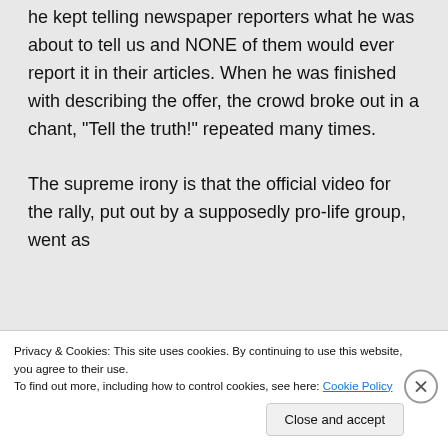he kept telling newspaper reporters what he was about to tell us and NONE of them would ever report it in their articles. When he was finished with describing the offer, the crowd broke out in a chant, “Tell the truth!” repeated many times.

The supreme irony is that the official video for the rally, put out by a supposedly pro-life group, went as far as cutting the crowd’s last comment
Privacy & Cookies: This site uses cookies. By continuing to use this website, you agree to their use.
To find out more, including how to control cookies, see here: Cookie Policy
Close and accept